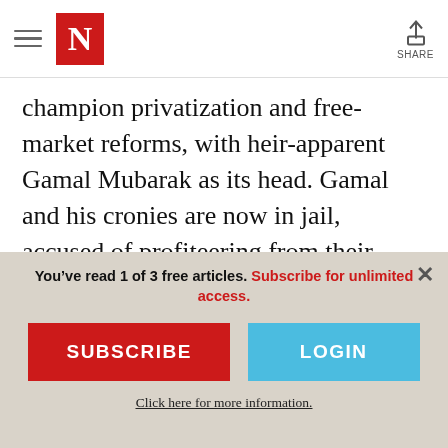The Nation — Navigation header with logo N and Share button
champion privatization and free-market reforms, with heir-apparent Gamal Mubarak as its head. Gamal and his cronies are now in jail, accused of profiteering from their position: they traded Egyptian debt and sold state land and companies as if Egypt were their private portfolio. “The sale of Egypt’s public assets had recouped just one-tenth of
You’ve read 1 of 3 free articles. Subscribe for unlimited access.
SUBSCRIBE
LOGIN
Click here for more information.